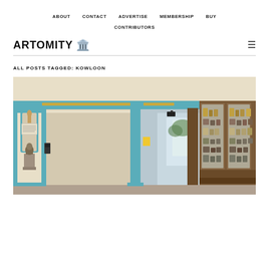ABOUT   CONTACT   ADVERTISE   MEMBERSHIP   BUY   CONTRIBUTORS
ARTOMITY 🏛️
ALL POSTS TAGGED: KOWLOON
[Figure (photo): Interior of a historic building with teal/turquoise and cream colored walls, ornate molding on the ceiling, a niche with a religious statue, a bronze bust on a pedestal, a wooden display cabinet with glass doors filled with artifacts, and a corridor leading to an outdoor area.]